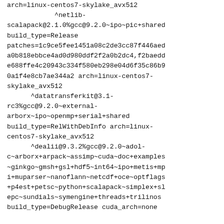arch=linux-centos7-skylake_avx512
            ^netlib-scalapack@2.1.0%gcc@9.2.0~ipo~pic+shared build_type=Release patches=1c9ce5fee1451a08c2de3cc87f446aed a0b818ebbce4ad0d980ddf2f2a0b2dc4,f2baedd e688ffe4c20943c334f580eb298e04d6f35c86b9 0a1f4e8cb7ae344a2 arch=linux-centos7-skylake_avx512
      ^datatransferkit@3.1-rc3%gcc@9.2.0~external-arborx~ipo~openmp+serial+shared build_type=RelWithDebInfo arch=linux-centos7-skylake_avx512
      ^dealii@9.3.2%gcc@9.2.0~adol-c~arborx+arpack~assimp~cuda~doc+examples~ginkgo~gmsh+gsl+hdf5~int64~ipo+metis+mpi+muparser~nanoflann~netcdf+oce~optflags+p4est+petsc~python+scalapack~simplex+slepc~sundials~symengine+threads+trilinos build_type=DebugRelease cuda_arch=none